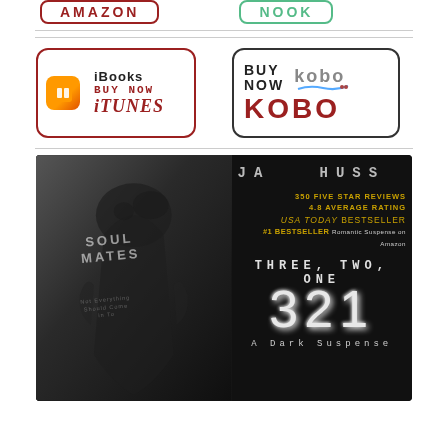[Figure (logo): Amazon Buy Now button (partially cropped at top)]
[Figure (logo): Nook Buy Now button (partially cropped at top)]
[Figure (logo): iBooks Buy Now iTunes button with orange iBooks logo and dark red border]
[Figure (logo): Kobo Buy Now button with Kobo branding and dark red KOBO text]
[Figure (illustration): Book promotional banner for '321 A Dark Suspense' by JA Huss. Black background with muscular male back. Text: 350 FIVE STAR REVIEWS, 4.8 AVERAGE RATING, USA TODAY BESTSELLER, #1 BESTSELLER Romantic Suspense on Amazon, THREE, TWO, ONE, 321, A Dark Suspense. Soul Mates tattoo/overlay on left side.]